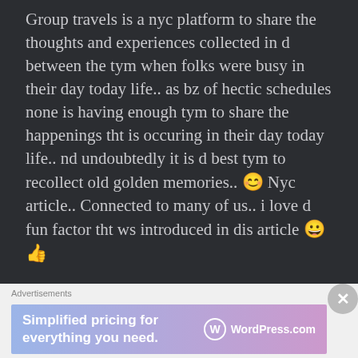Group travels is a nyc platform to share the thoughts and experiences collected in d between the tym when folks were busy in their day today life.. as bz of hectic schedules none is having enough tym to share the happenings tht is occuring in their day today life.. nd undoubtedly it is d best tym to recollect old golden memories.. 😊 Nyc article.. Connected to many of us.. i love d fun factor tht ws introduced in dis article 😀👍
Advertisements
[Figure (other): WordPress.com advertisement banner: 'Simplified pricing for everything you need.' with WordPress.com logo on gradient background]